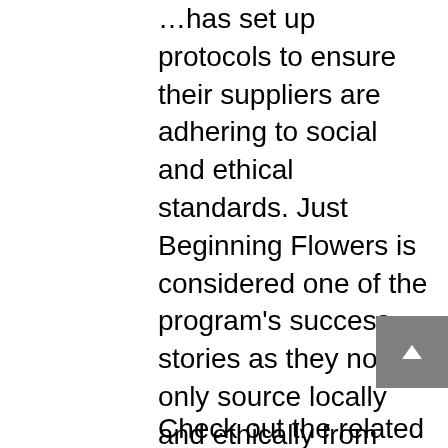…has set up protocols to ensure their suppliers are adhering to social and ethical standards. Just Beginning Flowers is considered one of the program's success stories as they not only source locally and ethically from abroad, but they are also a social enterprise that has developed a training program for students that have barriers to employment. Furthermore, Just Beginning Flowers employs green business practices with the goal of minimizing the impact of their operations on the environment.
Check out the related